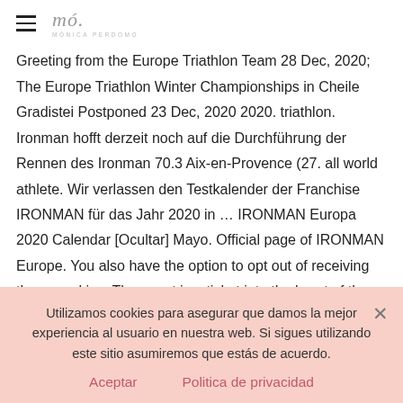≡ mó. MÓNICA PERDOMO
Greeting from the Europe Triathlon Team 28 Dec, 2020; The Europe Triathlon Winter Championships in Cheile Gradistei Postponed 23 Dec, 2020 2020. triathlon. Ironman hofft derzeit noch auf die Durchführung der Rennen des Ironman 70.3 Aix-en-Provence (27. all world athlete. Wir verlassen den Testkalender der Franchise IRONMAN für das Jahr 2020 in … IRONMAN Europa 2020 Calendar [Ocultar] Mayo. Official page of IRONMAN Europe. You also have the option to opt out of receiving these cookies. The event is a ticket into the heart of the world-famous wine regions of the Napa and Sonoma valleys, and … Wir danken unseren AthletInnen, Partnern, Dienstleistern und Volunteers für ihre anhaltende Geduld seit
Utilizamos cookies para asegurar que damos la mejor experiencia al usuario en nuestra web. Si sigues utilizando este sitio asumiremos que estás de acuerdo.
Aceptar    Politica de privacidad